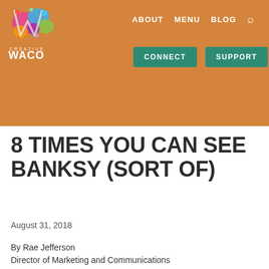[Figure (logo): Creative Waco logo: colorful paint splatter W above text CREATIVE WACO in white on orange background]
ABOUT   MENU   BLOG   🔍   CONNECT   SUPPORT
8 TIMES YOU CAN SEE BANKSY (SORT OF)
August 31, 2018
By Rae Jefferson
Director of Marketing and Communications